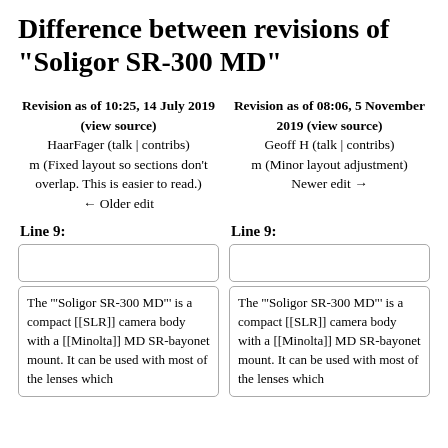Difference between revisions of "Soligor SR-300 MD"
Revision as of 10:25, 14 July 2019 (view source)
HaarFager (talk | contribs)
m (Fixed layout so sections don't overlap. This is easier to read.)
← Older edit
Revision as of 08:06, 5 November 2019 (view source)
Geoff H (talk | contribs)
m (Minor layout adjustment)
Newer edit →
Line 9:
Line 9:
The '"Soligor SR-300 MD"' is a compact [[SLR]] camera body with a [[Minolta]] MD SR-bayonet mount. It can be used with most of the lenses which
The '"Soligor SR-300 MD"' is a compact [[SLR]] camera body with a [[Minolta]] MD SR-bayonet mount. It can be used with most of the lenses which